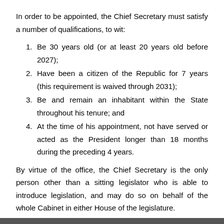In order to be appointed, the Chief Secretary must satisfy a number of qualifications, to wit:
Be 30 years old (or at least 20 years old before 2027);
Have been a citizen of the Republic for 7 years (this requirement is waived through 2031);
Be and remain an inhabitant within the State throughout his tenure; and
At the time of his appointment, not have served or acted as the President longer than 18 months during the preceding 4 years.
By virtue of the office, the Chief Secretary is the only person other than a sitting legislator who is able to introduce legislation, and may do so on behalf of the whole Cabinet in either House of the legislature.